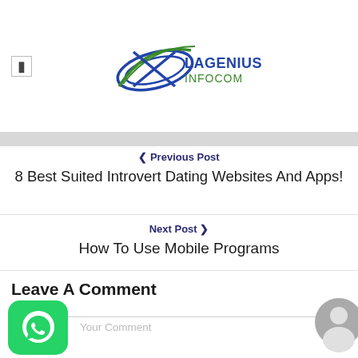[Figure (logo): Lagenius Infocom logo with stylized X/arrows graphic and text 'LAGENIUS INFOCOM']
❮ Previous Post
8 Best Suited Introvert Dating Websites And Apps!
Next Post ❯
How To Use Mobile Programs
Leave A Comment
Your Comment
[Figure (logo): WhatsApp green icon button]
[Figure (photo): Grey avatar/user profile silhouette icon in top-right area]